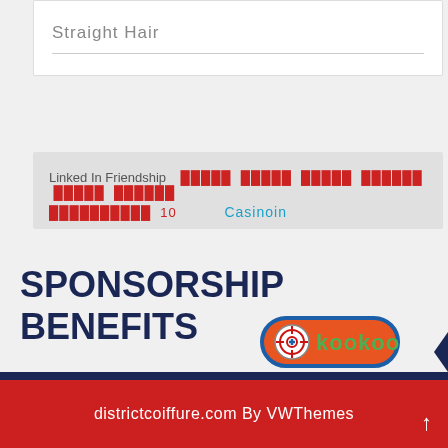Straight Hair
Linked In Friendship   █████ █████ █████ ██████ █████ ██████
██████████  10      Casinoin
SPONSORSHIP BENEFITS
[Figure (logo): Kookoo logo: red/orange pill-shaped button with a target/crosshair icon on the left and 'kookoo' text in green]
districtcoiffure.com By VWThemes